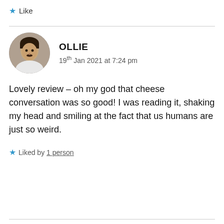Like
OLLIE
19th Jan 2021 at 7:24 pm
Lovely review – oh my god that cheese conversation was so good! I was reading it, shaking my head and smiling at the fact that us humans are just so weird.
Liked by 1 person